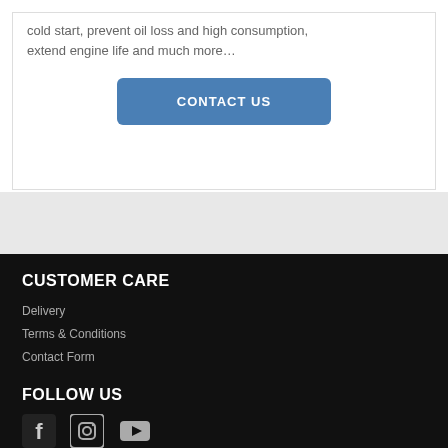cold start, prevent oil loss and high consumption, extend engine life and much more…
CONTACT US
CUSTOMER CARE
Delivery
Terms & Conditions
Contact Form
FOLLOW US
[Figure (illustration): Social media icons: Facebook, Instagram, YouTube]